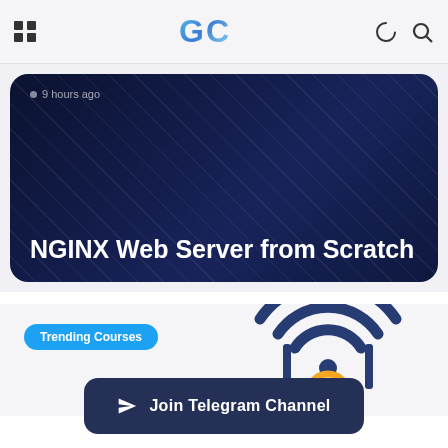GC
9 hours ago
NGINX Web Server from Scratch
[Figure (screenshot): Trending Courses badge with a WiFi/router illustration showing a router icon with WiFi signal arcs in dark blue, orange antenna base]
Join Telegram Channel